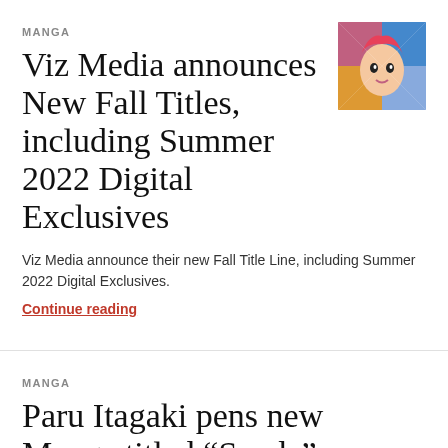MANGA
Viz Media announces New Fall Titles, including Summer 2022 Digital Exclusives
[Figure (illustration): Colorful manga-style cover art showing a stylized face with pink hair and bold colors]
Viz Media announce their new Fall Title Line, including Summer 2022 Digital Exclusives.
Continue reading
MANGA
Paru Itagaki pens new Manga titled “Sanda” set to debut in next week’s
[Figure (illustration): Manga character illustration showing a white-haired figure in a red outfit]